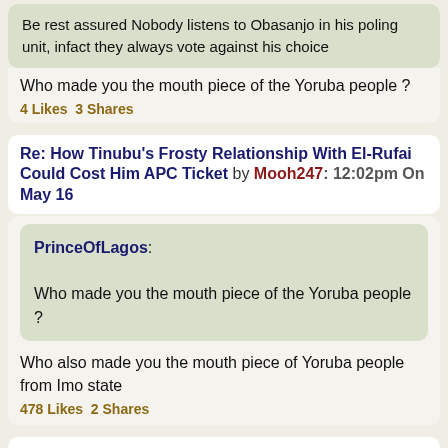Be rest assured Nobody listens to Obasanjo in his poling unit, infact they always vote against his choice
Who made you the mouth piece of the Yoruba people ?
4 Likes 3 Shares
Re: How Tinubu's Frosty Relationship With El-Rufai Could Cost Him APC Ticket by Mooh247: 12:02pm On May 16
PrinceOfLagos: Who made you the mouth piece of the Yoruba people ?
Who also made you the mouth piece of Yoruba people from Imo state
478 Likes 2 Shares
Re: How Tinubu's Frosty Relationship With El-Rufai Could Cost Him APC Ticket by cktheluckyman: 12:02pm On May 16